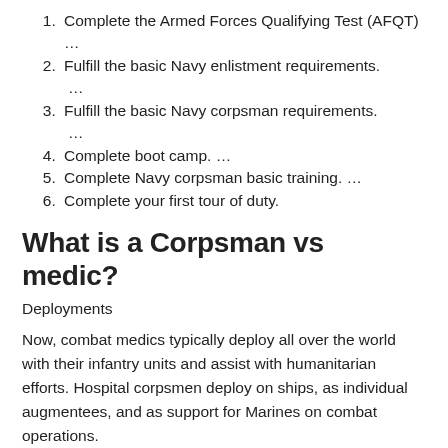1. Complete the Armed Forces Qualifying Test (AFQT) …
2. Fulfill the basic Navy enlistment requirements. …
3. Fulfill the basic Navy corpsman requirements. …
4. Complete boot camp. …
5. Complete Navy corpsman basic training. …
6. Complete your first tour of duty.
What is a Corpsman vs medic?
Deployments
Now, combat medics typically deploy all over the world with their infantry units and assist with humanitarian efforts. Hospital corpsmen deploy on ships, as individual augmentees, and as support for Marines on combat operations.